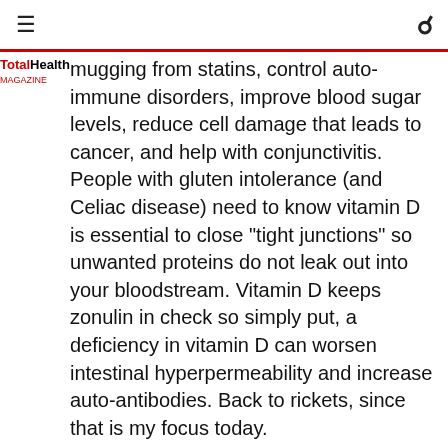≡  🔍
TotalHealth Magazine mugging from statins, control auto-immune disorders, improve blood sugar levels, reduce cell damage that leads to cancer, and help with conjunctivitis. People with gluten intolerance (and Celiac disease) need to know vitamin D is essential to close "tight junctions" so unwanted proteins do not leak out into your bloodstream. Vitamin D keeps zonulin in check so simply put, a deficiency in vitamin D can worsen intestinal hyperpermeability and increase auto-antibodies. Back to rickets, since that is my focus today.
Why is rickets making a comeback? I can answer that in a single word: Sunscreen. Early last year a smattering of stories alerted people in the United